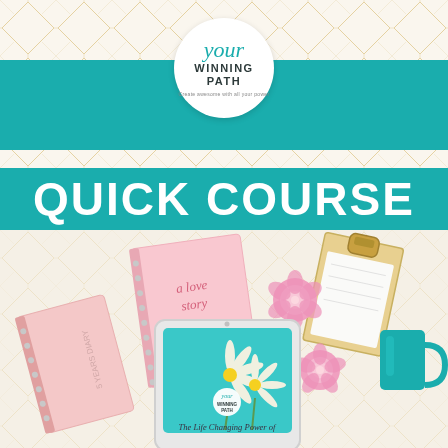[Figure (logo): Your Winning Path circular logo with teal script 'your' and bold uppercase 'WINNING PATH' text]
QUICK COURSE
[Figure (photo): Flat lay photo showing pink notebooks, a spiral journal with 'a love story' written on it, pink roses, a tablet displaying 'The Life Changing Power of' with Your Winning Path logo and daisy flowers on teal background, a gold clipboard, and a teal mug, all on a white geometric patterned surface.]